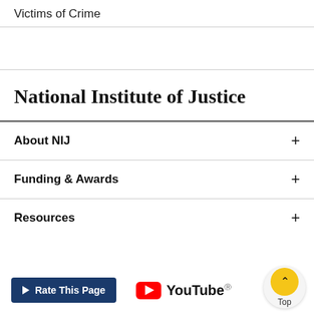Victims of Crime
National Institute of Justice
About NIJ
Funding & Awards
Resources
Rate This Page
YouTube
Top